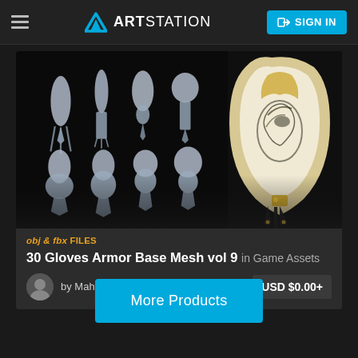ArtStation — SIGN IN
[Figure (screenshot): 3D glove armor base mesh models shown in a dark background, multiple views of white/grey sculpts on the left and a gold/black ornate gauntlet on the right]
obj & fbx FILES
30 Gloves Armor Base Mesh vol 9 in Game Assets
by Mahtaj karimi
USD $0.00+
More Products